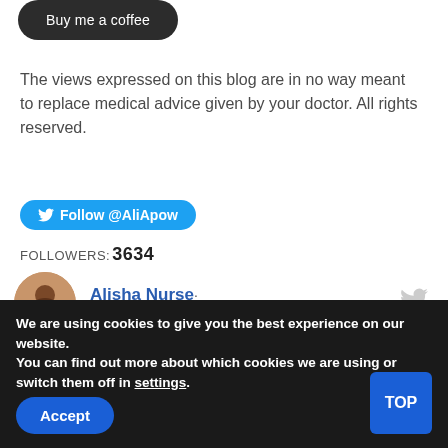[Figure (screenshot): Partial 'Buy me a coffee' dark rounded button at top of page]
The views expressed on this blog are in no way meant to replace medical advice given by your doctor. All rights reserved.
[Figure (screenshot): Twitter Follow button with bird icon: Follow @AliApow]
FOLLOWERS: 3634
[Figure (screenshot): Twitter profile card for Alisha Nurse (@AliApow) with circular avatar photo and gray Twitter bird icon on right]
We are using cookies to give you the best experience on our website.
You can find out more about which cookies we are using or switch them off in settings.
[Figure (screenshot): Accept button (dark blue, rounded) and TOP button (dark blue square) in cookie banner]